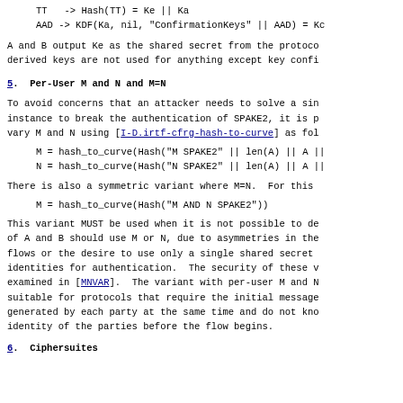TT   -> Hash(TT) = Ke || Ka
   AAD -> KDF(Ka, nil, "ConfirmationKeys" || AAD) = Kc
A and B output Ke as the shared secret from the protocol, and the derived keys are not used for anything except key confirmation.
5.  Per-User M and N and M=N
To avoid concerns that an attacker needs to solve a single instance to break the authentication of SPAKE2, it is possible to vary M and N using [I-D.irtf-cfrg-hash-to-curve] as follows:
M = hash_to_curve(Hash("M SPAKE2" || len(A) || A ||
   N = hash_to_curve(Hash("N SPAKE2" || len(A) || A ||
There is also a symmetric variant where M=N.  For this variant:
M = hash_to_curve(Hash("M AND N SPAKE2"))
This variant MUST be used when it is not possible to determine which of A and B should use M or N, due to asymmetries in the protocol flows or the desire to use only a single shared secret without identities for authentication.  The security of these variants is examined in [MNVAR].  The variant with per-user M and N is not suitable for protocols that require the initial messages to be generated by each party at the same time and do not know the identity of the parties before the flow begins.
6.  Ciphersuites